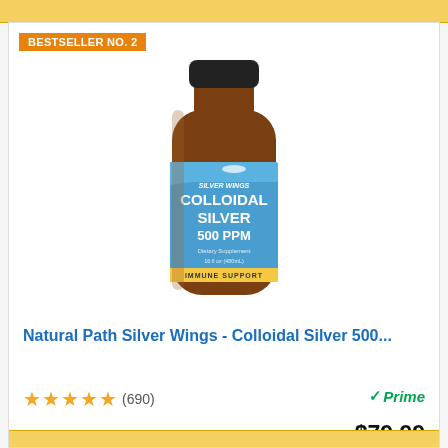[Figure (other): Top gold/yellow button bar, partially visible at top of page]
BESTSELLER NO. 2
[Figure (photo): Amber glass bottle of Natural Path Silver Wings Colloidal Silver 500 PPM dietary supplement, 16 fl oz (480mL), with blue label showing a bird/wings logo and yellow 'IMMUNE SUPPORT' stripe at bottom]
Natural Path Silver Wings - Colloidal Silver 500...
★★★★★ (690)
✓Prime
$79.99